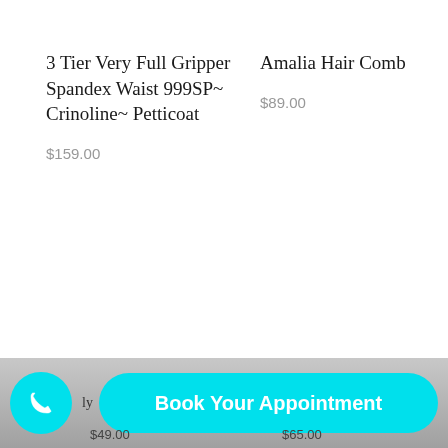3 Tier Very Full Gripper Spandex Waist 999SP~ Crinoline~ Petticoat
$159.00
Amalia Hair Comb
$89.00
Book Your Appointment
$49.00
$65.00